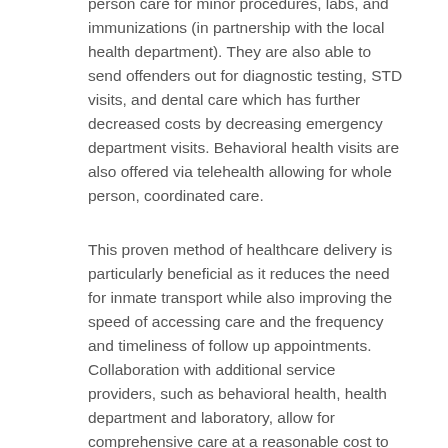person care for minor procedures, labs, and immunizations (in partnership with the local health department). They are also able to send offenders out for diagnostic testing, STD visits, and dental care which has further decreased costs by decreasing emergency department visits. Behavioral health visits are also offered via telehealth allowing for whole person, coordinated care.
This proven method of healthcare delivery is particularly beneficial as it reduces the need for inmate transport while also improving the speed of accessing care and the frequency and timeliness of follow up appointments. Collaboration with additional service providers, such as behavioral health, health department and laboratory, allow for comprehensive care at a reasonable cost to smaller jails.